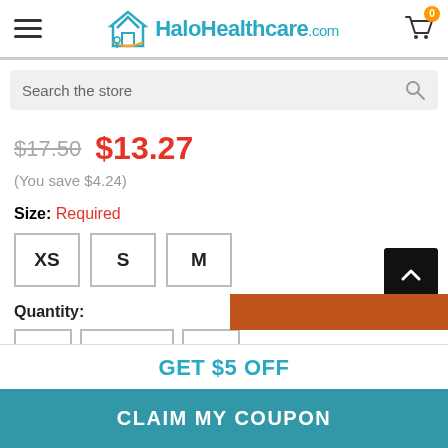[Figure (screenshot): HaloHealthcare.com website header with hamburger menu, logo, and cart icon with 0 badge]
Search the store
$17.50  $13.27
(You save $4.24)
Size: Required
XS  S  M
Quantity:
GET $5 OFF
CLAIM MY COUPON